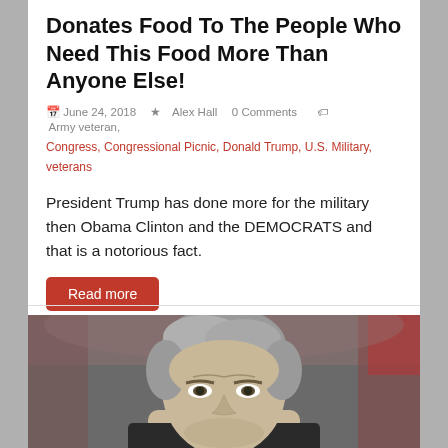Donates Food To The People Who Need This Food More Than Anyone Else!
June 24, 2018   Alex Hall   0 Comments   Army veteran, Congress, Congressional Picnic, Donald Trump, U.S. Military, veterans
President Trump has done more for the military then Obama Clinton and the DEMOCRATS and that is a notorious fact.
[Figure (photo): Close-up photo of a gray-haired man's face with a blurred crowd in the background]